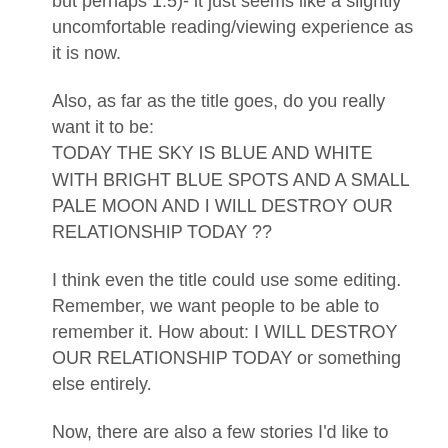but perhaps 1:5)- it just seems like a slightly uncomfortable reading/viewing experience as it is now.
Also, as far as the title goes, do you really want it to be:
TODAY THE SKY IS BLUE AND WHITE WITH BRIGHT BLUE SPOTS AND A SMALL PALE MOON AND I WILL DESTROY OUR RELATIONSHIP TODAY ??
I think even the title could use some editing. Remember, we want people to be able to remember it. How about: I WILL DESTROY OUR RELATIONSHIP TODAY or something else entirely.
Now, there are also a few stories I'd like to cut: It's a Snowy Night..., Should, and The Walking Wall.
I'd like to see how many pages the book turns out to have with the content cuts, and with the front and